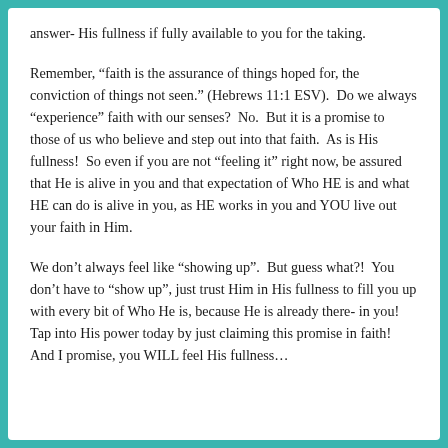answer- His fullness if fully available to you for the taking.
Remember, “faith is the assurance of things hoped for, the conviction of things not seen.” (Hebrews 11:1 ESV).  Do we always “experience” faith with our senses?  No.  But it is a promise to those of us who believe and step out into that faith.  As is His fullness!  So even if you are not “feeling it” right now, be assured that He is alive in you and that expectation of Who HE is and what HE can do is alive in you, as HE works in you and YOU live out your faith in Him.
We don’t always feel like “showing up”.  But guess what?!  You don’t have to “show up”, just trust Him in His fullness to fill you up with every bit of Who He is, because He is already there- in you!  Tap into His power today by just claiming this promise in faith!  And I promise, you WILL feel His fullness…